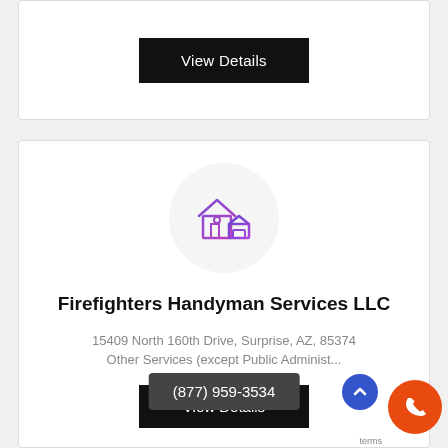[Figure (screenshot): Top card with a black 'View Details' button centered on white card background]
[Figure (logo): Circular logo with house/building icon in purple/blue gradient outline style]
Firefighters Handyman Services LLC
15409 North 160th Drive, Surprise, AZ, 85374
Other Services (except Public Administ...
[Figure (screenshot): Black 'View Details' button at the bottom of the second card]
(877) 959-3534